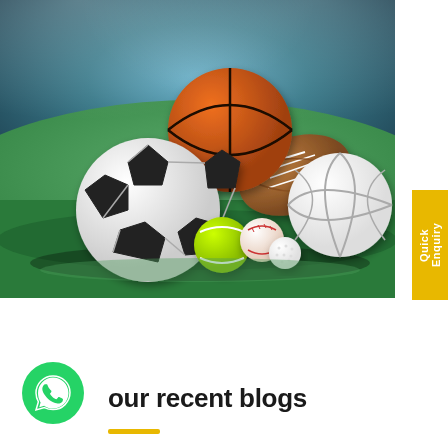[Figure (photo): Sports balls collection on green field background — soccer ball, basketball, football, volleyball, tennis ball, cricket ball, golf ball — with stadium lights in background]
Quick Enquiry
[Figure (logo): WhatsApp icon — white phone handset on green circle]
our recent blogs